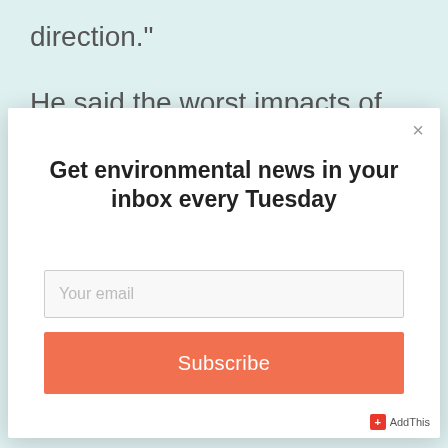direction."
He said the worst impacts of climate
[Figure (screenshot): Newsletter subscription modal popup with title 'Get environmental news in your inbox every Tuesday', an email input field, and a coral-colored Subscribe button. A close (X) button is in the top-right corner and an AddThis badge is in the bottom-right.]